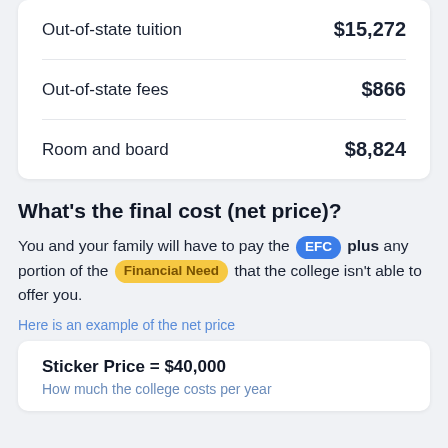| Item | Amount |
| --- | --- |
| Out-of-state tuition | $15,272 |
| Out-of-state fees | $866 |
| Room and board | $8,824 |
What's the final cost (net price)?
You and your family will have to pay the EFC plus any portion of the Financial Need that the college isn't able to offer you.
Here is an example of the net price
Sticker Price = $40,000
How much the college costs per year